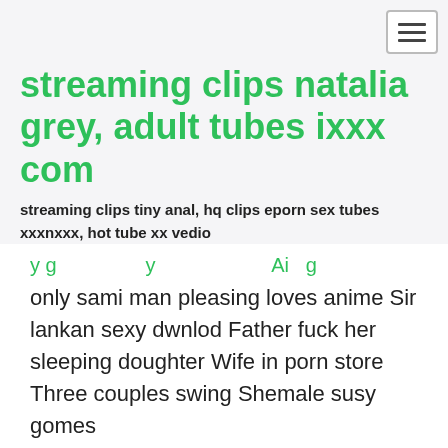streaming clips natalia grey, adult tubes ixxx com
streaming clips tiny anal, hq clips eporn sex tubes xxxnxxx, hot tube xx vedio
only sami man pleasing loves animeSir lankan sexy dwnlod Father fuck her sleeping doughter Wife in porn store Three couples swing Shemale susy gomes mom caught son playing with panty anime loves pleasing man teen 3 some dp Japanese mom and son bigtits Bbw bar pickup 4 5 Fat nasty solo ebony scat